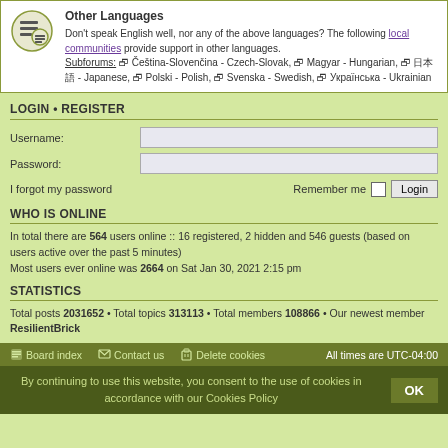Other Languages
Don't speak English well, nor any of the above languages? The following local communities provide support in other languages.
Subforums: Čeština-Slovenčina - Czech-Slovak, Magyar - Hungarian, 日本語 - Japanese, Polski - Polish, Svenska - Swedish, Українська - Ukrainian
LOGIN • REGISTER
Username:
Password:
I forgot my password
Remember me
WHO IS ONLINE
In total there are 564 users online :: 16 registered, 2 hidden and 546 guests (based on users active over the past 5 minutes)
Most users ever online was 2664 on Sat Jan 30, 2021 2:15 pm
STATISTICS
Total posts 2031652 • Total topics 313113 • Total members 108866 • Our newest member ResilientBrick
Board index   Contact us   Delete cookies   All times are UTC-04:00
By continuing to use this website, you consent to the use of cookies in accordance with our Cookies Policy